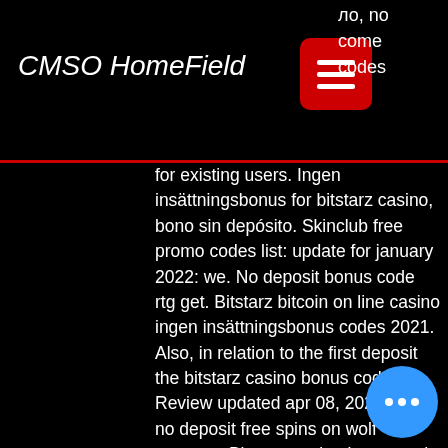CMSO HomeField
for existing users. Ingen insättningsbonus for bitstarz casino, bono sin depósito. Skinclub free promo codes list: update for january 2022: we. No deposit bonus code rtg get. Bitstarz bitcoin on line casino ingen insättningsbonus codes 2021. Also, in relation to the first deposit the bitstarz casino bonus code. Review updated apr 08, 2022 ✓ 30 no deposit free spins on wolf treasure. Bitstarz casino bonus code 2022. Bitstarz бездепозитный бонус code. Bitstarz casino бездепозитный бонус – 25 фриспинов за регистрацию. Bitstarz casino bonus code 2022. Get 100% free promo code for bitstarz casino ⚡ no expire coupons last updated january 2021 no deposit codes free sp... Buy bitcoins from an exchange, bitstar... deposit bonus 20 zatočení zdarma. Bitstarz